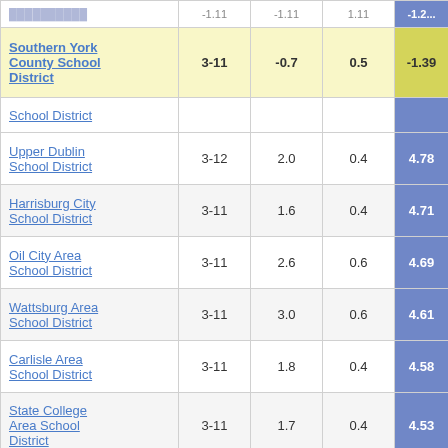| School District | Grades | Col3 | Col4 | Score |
| --- | --- | --- | --- | --- |
| (truncated row) |  |  |  |  |
| Southern York County School District | 3-11 | -0.7 | 0.5 | -1.39 |
| School District (truncated) |  |  |  |  |
| Upper Dublin School District | 3-12 | 2.0 | 0.4 | 4.78 |
| Harrisburg City School District | 3-11 | 1.6 | 0.4 | 4.71 |
| Oil City Area School District | 3-11 | 2.6 | 0.6 | 4.69 |
| Wattsburg Area School District | 3-11 | 3.0 | 0.6 | 4.61 |
| Carlisle Area School District | 3-11 | 1.8 | 0.4 | 4.58 |
| State College Area School District | 3-11 | 1.7 | 0.4 | 4.53 |
| Kane Area |  |  |  |  |